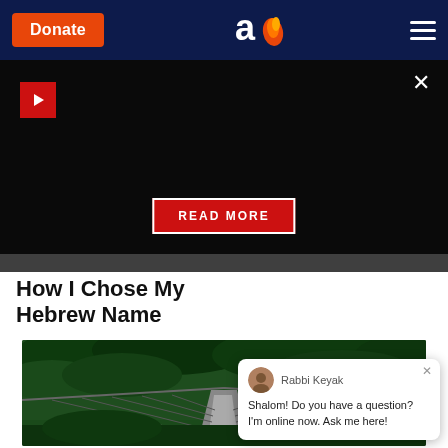Donate | Aish logo | Navigation menu
[Figure (screenshot): Dark video/ad area with red play button, close X button, and a red READ MORE button overlaid on dark background]
How I Chose My Hebrew Name
[Figure (photo): A suspension bridge extending through a lush green forest, perspective shot looking down the bridge path]
Shalom! Do you have a question? I'm online now. Ask me here!